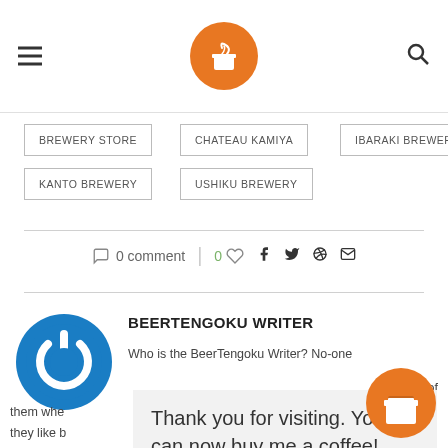BeerTengoku website header with hamburger menu, logo, and search icon
BREWERY STORE
CHATEAU KAMIYA
IBARAKI BREWERY
KANTO BREWERY
USHIKU BREWERY
0 comment | 0 ♡ f t ⓟ ✉
BEERTENGOKU WRITER
Who is the BeerTengoku Writer? No-one or heard of them whe v is th they like b
Thank you for visiting. You can now buy me a coffee!